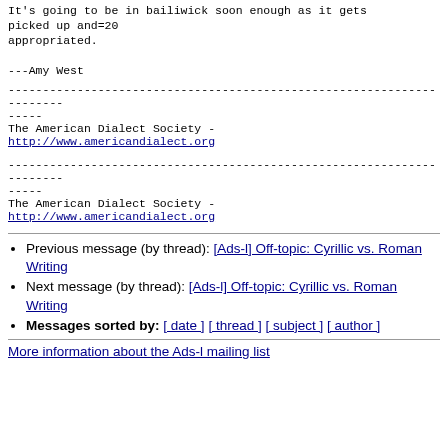It's going to be in bailiwick soon enough as it gets picked up and=20
appropriated.

---Amy West
----------------------------------------------------------------------
The American Dialect Society - http://www.americandialect.org
----------------------------------------------------------------------
The American Dialect Society - http://www.americandialect.org
Previous message (by thread): [Ads-l] Off-topic: Cyrillic vs. Roman Writing
Next message (by thread): [Ads-l] Off-topic: Cyrillic vs. Roman Writing
Messages sorted by: [ date ] [ thread ] [ subject ] [ author ]
More information about the Ads-l mailing list